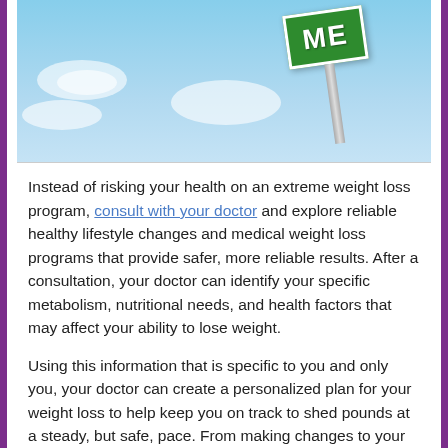[Figure (photo): Photo of a green road sign against a blue sky background. The sign reads 'ME' in large white bold letters on a green highway-style sign board, mounted on a metal pole.]
Instead of risking your health on an extreme weight loss program, consult with your doctor and explore reliable healthy lifestyle changes and medical weight loss programs that provide safer, more reliable results. After a consultation, your doctor can identify your specific metabolism, nutritional needs, and health factors that may affect your ability to lose weight.
Using this information that is specific to you and only you, your doctor can create a personalized plan for your weight loss to help keep you on track to shed pounds at a steady, but safe, pace. From making changes to your diet to creating an exercise regimen that will improve your cardiovascular health while burning fat, your doctor can